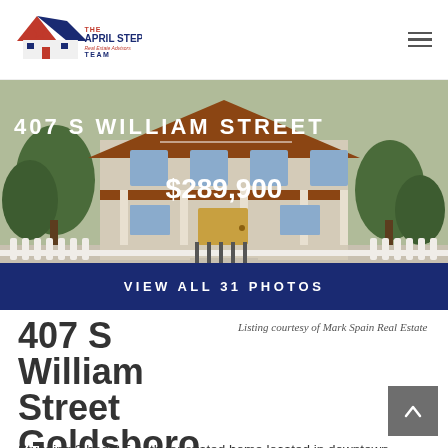[Figure (logo): The April Stephens Real Estate Advisors Team logo with house and star icon]
[Figure (photo): Exterior photo of a historic renovated home at 407 S William Street with white picket fence and covered porch]
407 S WILLIAM STREET
$289,900
VIEW ALL 31 PHOTOS
407 S William Street Goldsboro, NC 27530
Listing courtesy of Mark Spain Real Estate
Stunning 3 bed 2.5 bath renovated home located in downtown Goldsboro. Home is believed to be built around 1880. Seller completed extensive renovations on the home